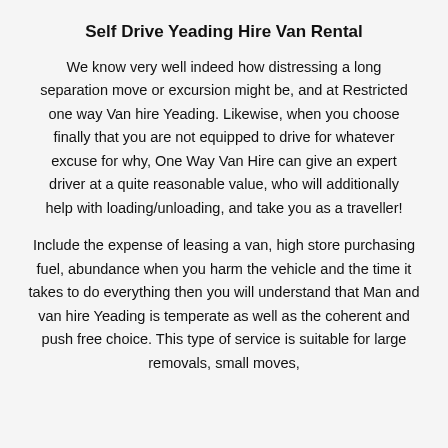Self Drive Yeading Hire Van Rental
We know very well indeed how distressing a long separation move or excursion might be, and at Restricted one way Van hire Yeading. Likewise, when you choose finally that you are not equipped to drive for whatever excuse for why, One Way Van Hire can give an expert driver at a quite reasonable value, who will additionally help with loading/unloading, and take you as a traveller!
Include the expense of leasing a van, high store purchasing fuel, abundance when you harm the vehicle and the time it takes to do everything then you will understand that Man and van hire Yeading is temperate as well as the coherent and push free choice. This type of service is suitable for large removals, small moves,